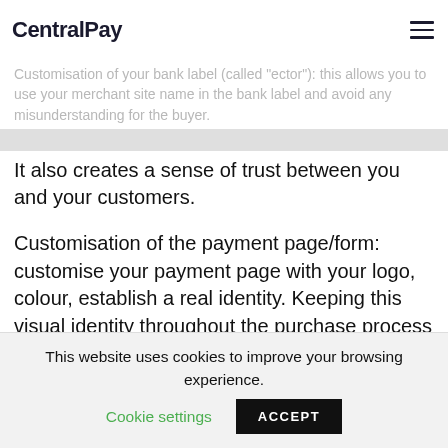CentralPay
Customisation of your bank label (called "ector"): this allows you to use your merchant site name in the bank label and avoid any misunderstanding for the buyer.
It also creates a sense of trust between you and your customers.
Customisation of the payment page/form: customise your payment page with your logo, colour, establish a real identity. Keeping this visual identity throughout the purchase process creates a real consistency, the customer feels reassured and will move more easily to the order validation stage.
It is therefore preferable to choose a payment
This website uses cookies to improve your browsing experience. Cookie settings ACCEPT